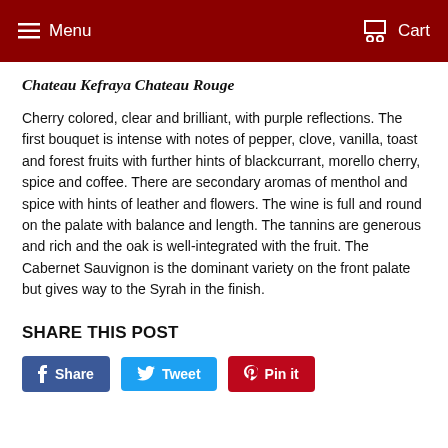Menu  Cart
Chateau Kefraya Chateau Rouge
Cherry colored, clear and brilliant, with purple reflections. The first bouquet is intense with notes of pepper, clove, vanilla, toast and forest fruits with further hints of blackcurrant, morello cherry, spice and coffee. There are secondary aromas of menthol and spice with hints of leather and flowers. The wine is full and round on the palate with balance and length. The tannins are generous and rich and the oak is well-integrated with the fruit. The Cabernet Sauvignon is the dominant variety on the front palate but gives way to the Syrah in the finish.
SHARE THIS POST
Share  Tweet  Pin it